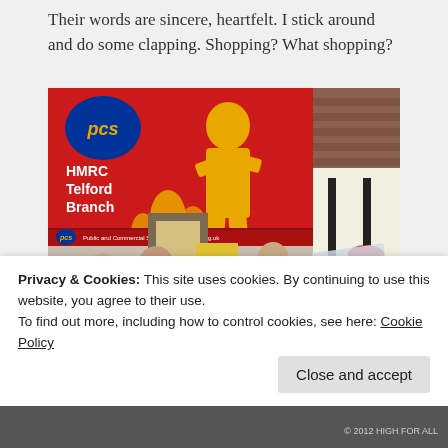Their words are sincere, heartfelt. I stick around and do some clapping. Shopping? What shopping?
[Figure (photo): Photo of a PCS union rally showing a large red PCS banner reading 'HMRC Telford Branch' with yellow graphic, and protesters holding signs including 'Stop the Cuts'. Several people visible in front of a building.]
Privacy & Cookies: This site uses cookies. By continuing to use this website, you agree to their use.
To find out more, including how to control cookies, see here: Cookie Policy
Close and accept